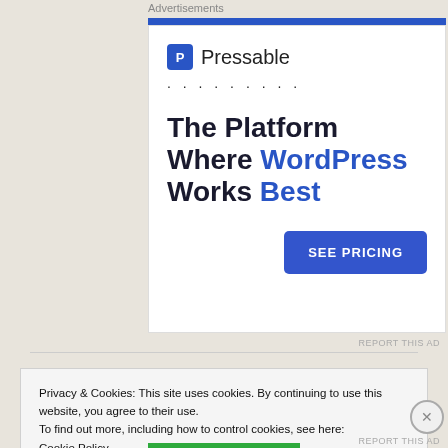Advertisements
[Figure (screenshot): Pressable advertisement banner. Shows Pressable logo with blue P icon, dotted line, headline 'The Platform Where WordPress Works Best' in dark and blue bold text, and a blue 'SEE PRICING' button.]
REPORT THIS AD
Privacy & Cookies: This site uses cookies. By continuing to use this website, you agree to their use.
To find out more, including how to control cookies, see here:
Cookie Policy
Close and accept